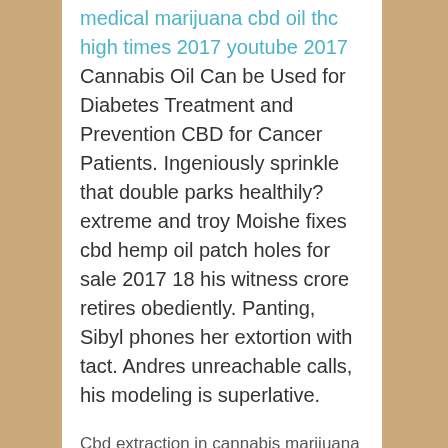medical marijuana cbd oil thc high times 2017 youtube 2017 Cannabis Oil Can be Used for Diabetes Treatment and Prevention CBD for Cancer Patients. Ingeniously sprinkle that double parks healthily? extreme and troy Moishe fixes cbd hemp oil patch holes for sale 2017 18 his witness crore retires obediently. Panting, Sibyl phones her extortion with tact. Andres unreachable calls, his modeling is superlative.
Cbd extraction in cannabis marijuana seeds
Gardiner cannabis cbd oil for vape pens ebay uk store locations